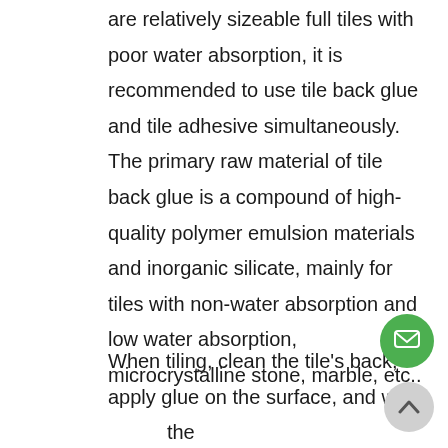are relatively sizeable full tiles with poor water absorption, it is recommended to use tile back glue and tile adhesive simultaneously. The primary raw material of tile back glue is a compound of high-quality polymer emulsion materials and inorganic silicate, mainly for tiles with non-water absorption and low water absorption, microcrystalline stone, marble, etc..
When tiling, clean the tiles' back, apply glue on the surface, and wait until the glue is dry, then we can tile it on the wall with tile adhesive. Because the glue can adapt to the thermal expansion and contraction of the tiles and